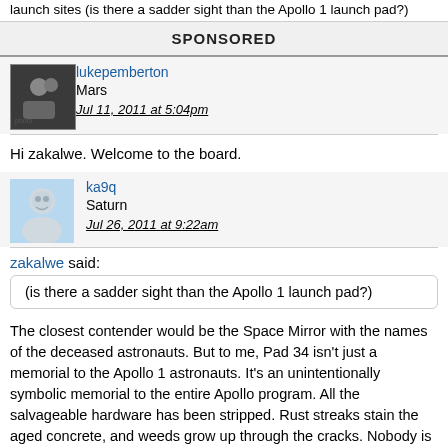launch sites (is there a sadder sight than the Apollo 1 launch pad?)
SPONSORED
lukepemberton
Mars
Jul 11, 2011 at 5:04pm
Hi zakalwe. Welcome to the board.
ka9q
Saturn
Jul 26, 2011 at 9:22am
zakalwe said:
(is there a sadder sight than the Apollo 1 launch pad?)
The closest contender would be the Space Mirror with the names of the deceased astronauts. But to me, Pad 34 isn't just a memorial to the Apollo 1 astronauts. It's an unintentionally symbolic memorial to the entire Apollo program. All the salvageable hardware has been stripped. Rust streaks stain the aged concrete, and weeds grow up through the cracks. Nobody is around. The place is abandoned and forgotten.